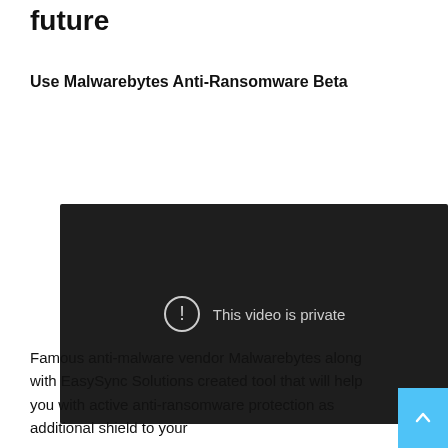future
Use Malwarebytes Anti-Ransomware Beta
[Figure (screenshot): Embedded video player showing 'This video is private' message on a dark background, with a YouTube play button in the bottom right corner.]
Famous anti-malware vendor Malwarebytes along with EasySync Solutions created tool that will help you with active anti-ransomware protection as additional shield to your